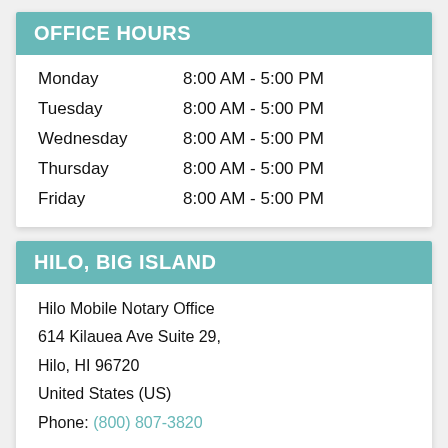OFFICE HOURS
| Day | Hours |
| --- | --- |
| Monday | 8:00 AM - 5:00 PM |
| Tuesday | 8:00 AM - 5:00 PM |
| Wednesday | 8:00 AM - 5:00 PM |
| Thursday | 8:00 AM - 5:00 PM |
| Friday | 8:00 AM - 5:00 PM |
HILO, BIG ISLAND
Hilo Mobile Notary Office
614 Kilauea Ave Suite 29,
Hilo, HI 96720
United States (US)
Phone: (800) 807-3820